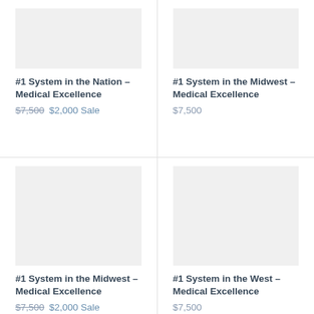[Figure (photo): Product image placeholder - light gray box, top-left card]
#1 System in the Nation – Medical Excellence
$7,500  $2,000 Sale
[Figure (photo): Product image placeholder - light gray box, top-right card]
#1 System in the Midwest – Medical Excellence
$7,500
[Figure (photo): Product image placeholder - light gray box, bottom-left card]
#1 System in the Midwest – Medical Excellence
$7,500  $2,000 Sale
[Figure (photo): Product image placeholder - light gray box, bottom-right card]
#1 System in the West – Medical Excellence
$7,500